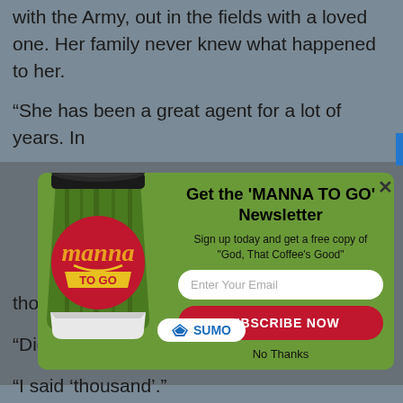with the Army, out in the fields with a loved one. Her family never knew what happened to her.
“She has been a great agent for a lot of years. In
[Figure (infographic): Newsletter signup modal popup with Manna To Go branded coffee cup illustration on left, and signup form on right with title 'Get the MANNA TO GO Newsletter', subtitle 'Sign up today and get a free copy of "God, That Coffee’s Good"', email input field, SUBSCRIBE NOW button, and No Thanks link. Modal has a green background and red circular logo. A SUMO badge appears at bottom.]
thousand years.
“Did you say ‘thousand’?”
“I said ‘thousand’.”